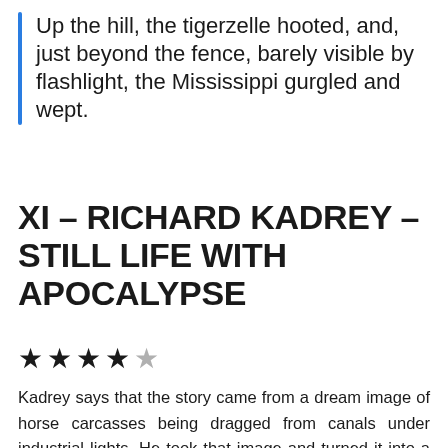Up the hill, the tigerzelle hooted, and, just beyond the fence, barely visible by flashlight, the Mississippi gurgled and wept.
XI – RICHARD KADREY – STILL LIFE WITH APOCALYPSE
★★★★☆
Kadrey says that the story came from a dream image of horse carcasses being dragged from canals under industrial lights. He took that image and turned it into a snapshot of life after everything has fallen apart–about